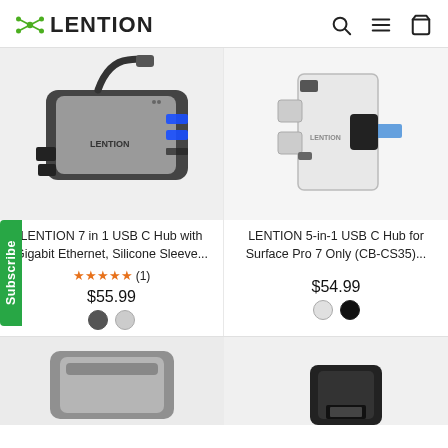[Figure (logo): LENTION brand logo with green atom-like icon and bold text]
[Figure (photo): LENTION 7 in 1 USB C Hub with Gigabit Ethernet, black and silver USB hub device with cable]
[Figure (photo): LENTION 5-in-1 USB C Hub for Surface Pro 7, silver and black adapter with multiple ports]
LENTION 7 in 1 USB C Hub with Gigabit Ethernet, Silicone Sleeve...
LENTION 5-in-1 USB C Hub for Surface Pro 7 Only (CB-CS35)...
★★★★★ (1)
$55.99
$54.99
Subscribe
[Figure (photo): Bottom partial product image left - gray USB hub]
[Figure (photo): Bottom partial product image right - black USB adapter]